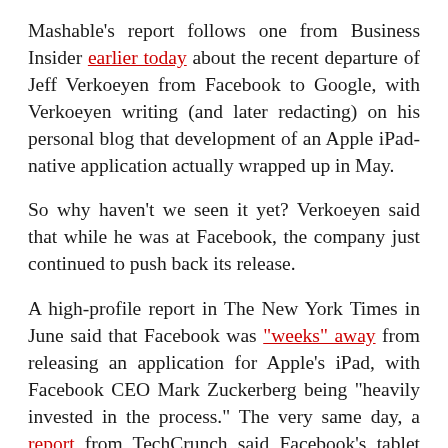Mashable's report follows one from Business Insider earlier today about the recent departure of Jeff Verkoeyen from Facebook to Google, with Verkoeyen writing (and later redacting) on his personal blog that development of an Apple iPad-native application actually wrapped up in May.
So why haven't we seen it yet? Verkoeyen said that while he was at Facebook, the company just continued to push back its release.
A high-profile report in The New York Times in June said that Facebook was "weeks" away from releasing an application for Apple's iPad, with Facebook CEO Mark Zuckerberg being "heavily invested in the process." The very same day, a report from TechCrunch said Facebook's tablet plans were less about a native app versus something dubbed Project Spartan, an HTML5-based version of the site that would work on both phones and tablets--apps and